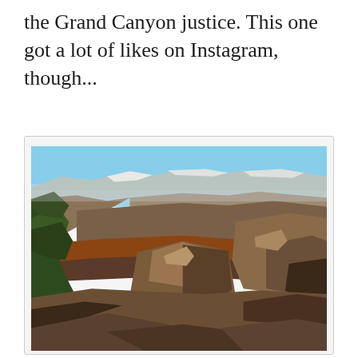the Grand Canyon justice. This one got a lot of likes on Instagram, though...
[Figure (photo): Photograph of the Grand Canyon showing layered red and brown rock formations with a blue sky and snow visible on the far rim. Green tree foliage visible in the lower left corner. The canyon walls show deep shadows and multiple geological strata.]